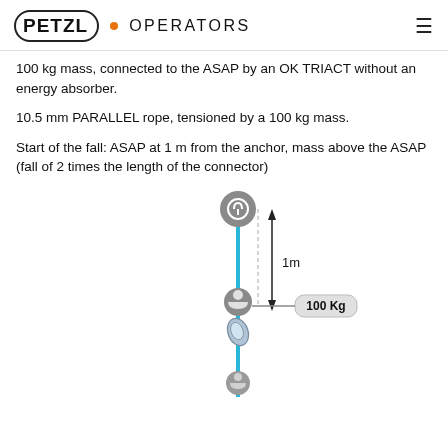PETZL • OPERATORS
100 kg mass, connected to the ASAP by an OK TRIACT without an energy absorber.
10.5 mm PARALLEL rope, tensioned by a 100 kg mass.
Start of the fall: ASAP at 1 m from the anchor, mass above the ASAP (fall of 2 times the length of the connector)
[Figure (engineering-diagram): Diagram showing a fall arrest setup: an anchor point at the top connected by a blue rope through an ASAP device with a 100 Kg mass attached, with a 1m distance indicator. A second figure at the bottom on a platform represents the lower anchor point.]